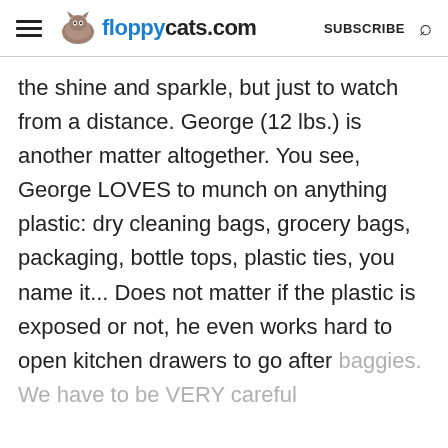floppycats.com  SUBSCRIBE
the shine and sparkle, but just to watch from a distance. George (12 lbs.) is another matter altogether. You see, George LOVES to munch on anything plastic: dry cleaning bags, grocery bags, packaging, bottle tops, plastic ties, you name it... Does not matter if the plastic is exposed or not, he even works hard to open kitchen drawers to go after baggies. We have to be VERY careful